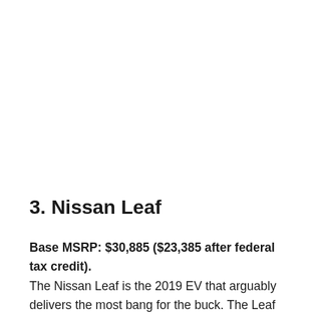3. Nissan Leaf
Base MSRP: $30,885 ($23,385 after federal tax credit). The Nissan Leaf is the 2019 EV that arguably delivers the most bang for the buck. The Leaf can run for an average 150 miles on a full charge and it's rated for energy efficiency at 124/99 MPGe. Though it will only be one line, Nissan will b